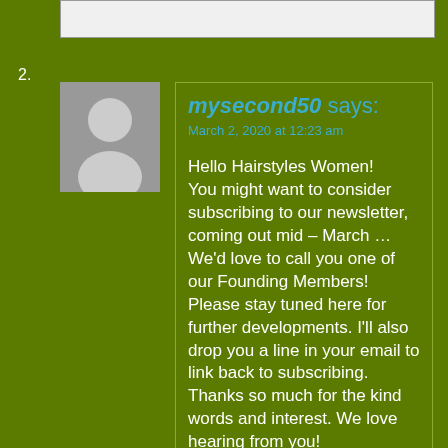2.
[Figure (illustration): Gray avatar icon showing a generic person silhouette on a gray background]
mysecond50 says:
March 2, 2020 at 12:23 am

Hello Hairstyles Women!
You might want to consider subscribing to our newsletter, coming out mid – March … We'd love to call you one of our Founding Members! Please stay tuned here for further developments. I'll also drop you a line in your email to link back to subscribing.
Thanks so much for the kind words and interest. We love hearing from you!
xo
Capri